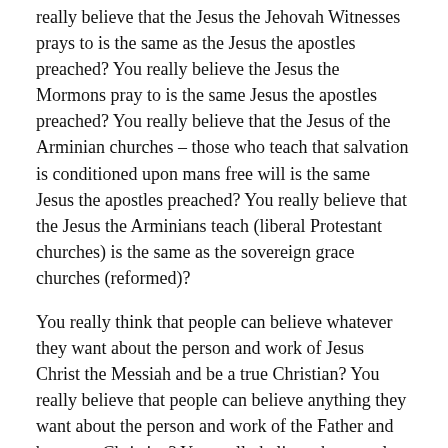really believe that the Jesus the Jehovah Witnesses prays to is the same as the Jesus the apostles preached? You really believe the Jesus the Mormons pray to is the same Jesus the apostles preached? You really believe that the Jesus of the Arminian churches – those who teach that salvation is conditioned upon mans free will is the same Jesus the apostles preached? You really believe that the Jesus the Arminians teach (liberal Protestant churches) is the same as the sovereign grace churches (reformed)?
You really think that people can believe whatever they want about the person and work of Jesus Christ the Messiah and be a true Christian? You really believe that people can believe anything they want about the person and work of the Father and be a true Christian? You really believe that people can believe whatever they want about the person and work of the Holy Spirit and be a true Christian?